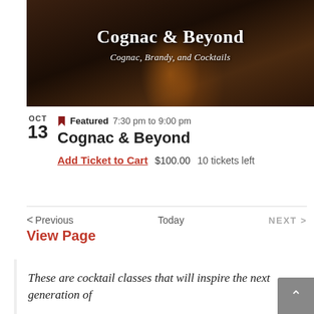[Figure (photo): Hero banner image for 'Cognac & Beyond' event showing cognac glasses and bottles on a dark wooden tray background, with white serif title text 'Cognac & Beyond' and italic subtitle 'Cognac, Brandy, and Cocktails']
OCT
13   ■ Featured   7:30 pm to 9:00 pm
      Cognac & Beyond
      Add Ticket to Cart   $100.00   10 tickets left
< Previous   Today   NEXT >
View Page
These are cocktail classes that will inspire the next generation of